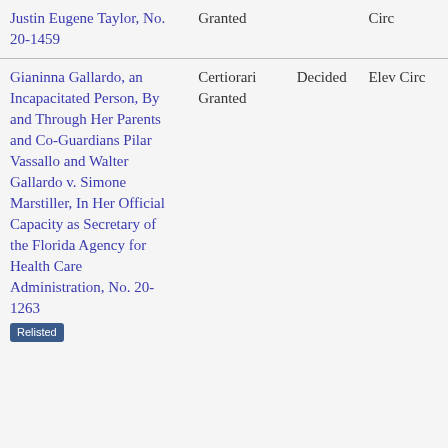| Case Name | Type | Status | Court |
| --- | --- | --- | --- |
| Justin Eugene Taylor, No. 20-1459 | Granted |  | Circ |
| Gianinna Gallardo, an Incapacitated Person, By and Through Her Parents and Co-Guardians Pilar Vassallo and Walter Gallardo v. Simone Marstiller, In Her Official Capacity as Secretary of the Florida Agency for Health Care Administration, No. 20-1263 | Certiorari Granted | Decided | Eleventh Circ |